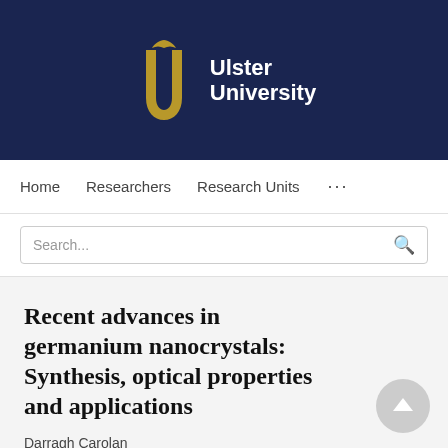[Figure (logo): Ulster University logo: gold stylized U with bird motif and white text 'Ulster University' on dark navy background]
Home   Researchers   Research Units   ...
Search...
Recent advances in germanium nanocrystals: Synthesis, optical properties and applications
Darragh Carolan